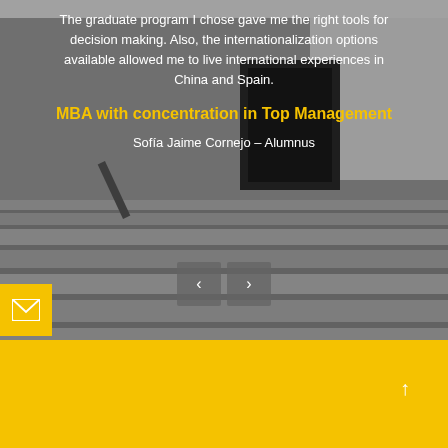[Figure (photo): Background photo of a modern building interior with concrete staircase steps leading upward, with a dark doorway visible in the background]
The graduate program I chose gave me the right tools for decision making. Also, the internationalization options available allowed me to live international experiences in China and Spain.
MBA with concentration in Top Management
Sofía Jaime Cornejo – Alumnus